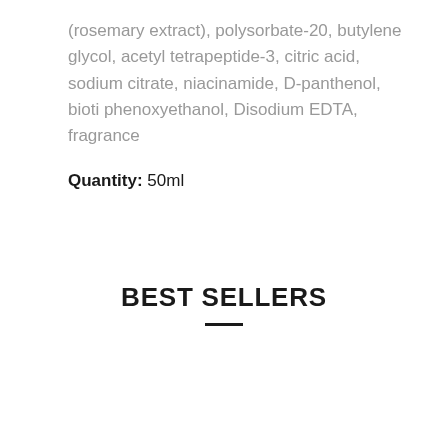(rosemary extract), polysorbate-20, butylene glycol, acetyl tetrapeptide-3, citric acid, sodium citrate, niacinamide, D-panthenol, bioti phenoxyethanol, Disodium EDTA, fragrance
Quantity: 50ml
BEST SELLERS